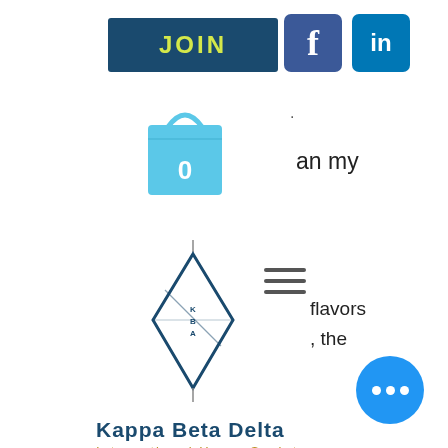[Figure (logo): JOIN button in dark navy blue with yellow-green text]
[Figure (logo): Facebook icon - blue square with white 'f']
[Figure (logo): LinkedIn icon - blue square with white 'in']
[Figure (illustration): Light blue shopping bag icon with number 0]
an my
[Figure (logo): Kappa Beta Delta diamond-shaped logo]
[Figure (other): Hamburger menu icon (three horizontal lines)]
flavors
/, the
Kappa Beta Delta
International Honor Society
back to that next post (once it gets to that part) so you can continue to drink it until there is no more water left, bulking program stronglifts!
And hey, if you've got any suggestions on how to get more of that BAMF flavor out of the bottle, I'm all ears!
Now, this post is sponsored by CrazyB Muscle & Nutrition, so if you take a moment